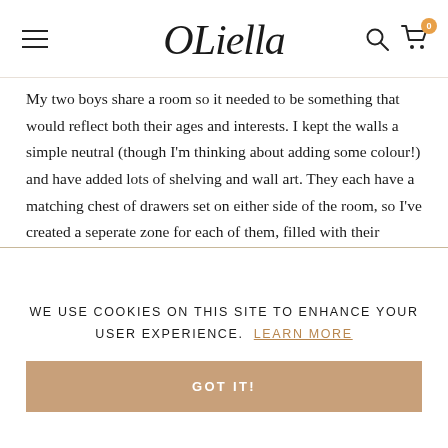OLiella
My two boys share a room so it needed to be something that would reflect both their ages and interests. I kept the walls a simple neutral (though I’m thinking about adding some colour!) and have added lots of shelving and wall art. They each have a matching chest of drawers set on either side of the room, so I’ve created a seperate zone for each of them, filled with their favourite things, books and colourful highlights! Willa’s room is in contrast to the boys and is a very feminine space, but I added plenty of muted shades as I didn’t want anything to be too matchy-matchy. I used wicker and wood with grey painted furniture and Liberty print bedding to create a whimsical space. She loves her
WE USE COOKIES ON THIS SITE TO ENHANCE YOUR USER EXPERIENCE. LEARN MORE
GOT IT!